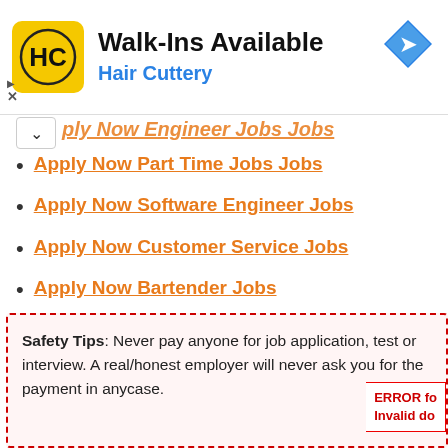[Figure (logo): Hair Cuttery ad banner with HC logo, Walk-Ins Available text, and blue navigation arrow icon]
Apply Now Engineer Jobs Jobs (partially visible, collapsed)
Apply Now Part Time Jobs Jobs
Apply Now Software Engineer Jobs
Apply Now Customer Service Jobs
Apply Now Bartender Jobs
Apply Now social media Jobs
Safety Tips: Never pay anyone for job application, test or interview. A real/honest employer will never ask you for the payment in anycase.